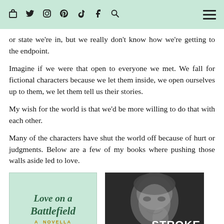social media icons and hamburger menu
or state we're in, but we really don't know how we're getting to the endpoint.
Imagine if we were that open to everyone we met. We fall for fictional characters because we let them inside, we open ourselves up to them, we let them tell us their stories.
My wish for the world is that we'd be more willing to do that with each other.
Many of the characters have shut the world off because of hurt or judgments. Below are a few of my books where pushing those walls aside led to love.
[Figure (photo): Book cover: Love on a Battlefield - A Novella, mint green background with decorative script lettering and small ornamental figures at the bottom]
[Figure (photo): Book cover: Stroke of... - black and white photo of a young man resting his chin on his hand, smiling, with the title STROKE OF in bold white text at the bottom right]